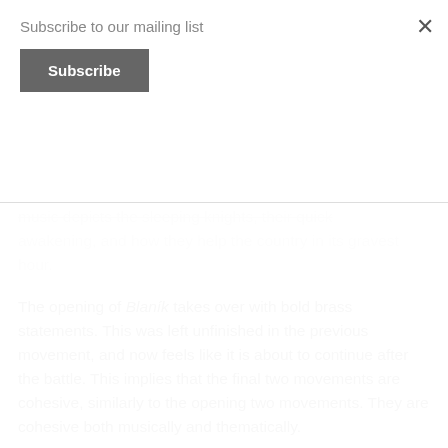Subscribe to our mailing list
Subscribe
music depicts the sleeping knights, their quick awakening, and how they help the country in its gravest hour.
The opening of Blaník takes over with bold brass statements. This was left unfinished in the previous movement, and now feels like it is about to continue after the battle. This implies that the final two movements are cohesive, similarly to the opening two movements. They are cohesive both musically and thematically.
The Hussite hymn is heard throughout Blaník, which further cements the musical relationship between these